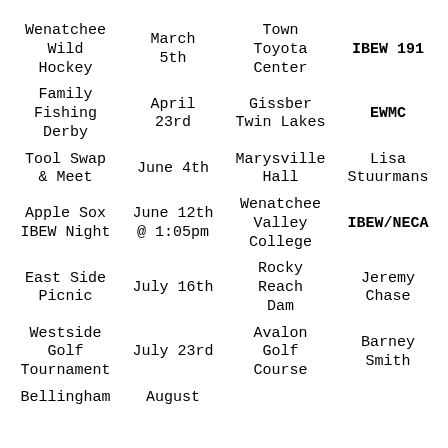| Event | Date | Location | Sponsor |
| --- | --- | --- | --- |
| Wenatchee Wild Hockey | March 5th | Town Toyota Center | IBEW 191 |
| Family Fishing Derby | April 23rd | Gissber Twin Lakes | EWMC |
| Tool Swap & Meet | June 4th | Marysville Hall | Lisa Stuurmans |
| Apple Sox IBEW Night | June 12th @ 1:05pm | Wenatchee Valley College | IBEW/NECA |
| East Side Picnic | July 16th | Rocky Reach Dam | Jeremy Chase |
| Westside Golf Tournament | July 23rd | Avalon Golf Course | Barney Smith |
| Bellingham | August |  |  |